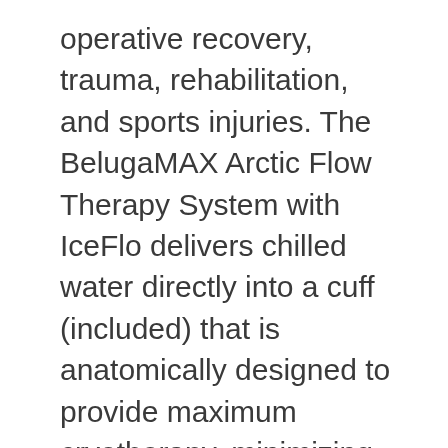operative recovery, trauma, rehabilitation, and sports injuries. The BelugaMAX Arctic Flow Therapy System with IceFlo delivers chilled water directly into a cuff (included) that is anatomically designed to provide maximum cryotherapy, minimizing the risk of tissue damage, hemarthrosis, swelling, and pain. The included anatomically designed cuff provides maximum cryotherapy for injured anatomical areas and a universal fit allows the cuff to be worn on either the left or the right side. The patent pending BelugaMAX Arctic Flow Therapy System is proudly designed